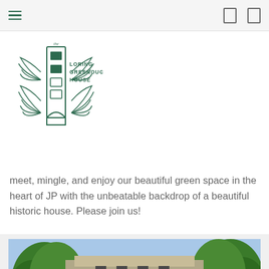Navigation bar with hamburger menu and icons
[Figure (logo): The Loring Greenough House logo with green leaf/plant and building motif]
meet, mingle, and enjoy our beautiful green space in the heart of JP with the unbeatable backdrop of a beautiful historic house. Please join us!
A $1 donation per person is suggested and all funds go towards the preservation of the Loring Greenough House and Grounds.
[Figure (photo): Exterior photo of the Loring Greenough House, a historic building surrounded by trees with a blue sky background]